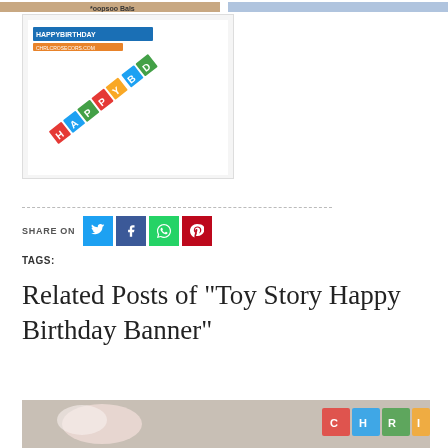[Figure (photo): Top strip showing partial birthday banner product image and another image on the right]
[Figure (photo): Toy Story Happy Birthday Banner product image showing colorful letter banner diagonal on white background]
SHARE ON
TAGS:
Related Posts of "Toy Story Happy Birthday Banner"
[Figure (photo): Bottom partial image showing colorful birthday-related item]